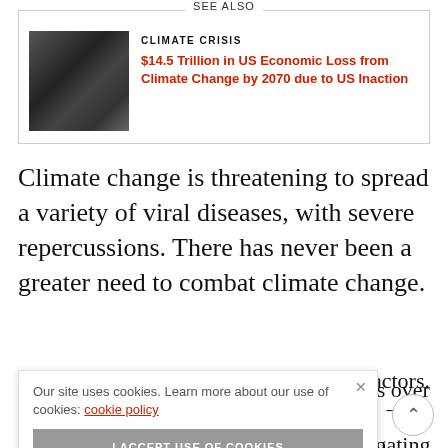SEE ALSO
[Figure (photo): Dark landscape photo used as thumbnail for climate crisis article]
CLIMATE CRISIS
$14.5 Trillion in US Economic Loss from Climate Change by 2070 due to US Inaction
Climate change is threatening to spread a variety of viral diseases, with severe repercussions. There has never been a greater need to combat climate change.
…ncies over …ash floods, …mitigating …ble factors. – the
Our site uses cookies. Learn more about our use of cookies: cookie policy I ACCEPT USE OF COOKIES